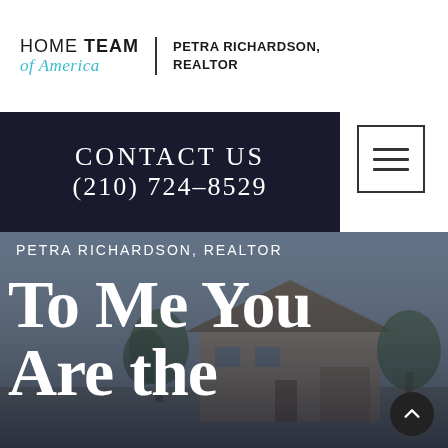[Figure (logo): Home Team of America logo with Petra Richardson, Realtor text]
CONTACT US
(210) 724-8529
[Figure (other): Hamburger menu icon]
PETRA RICHARDSON, REALTOR
To Me You Are the